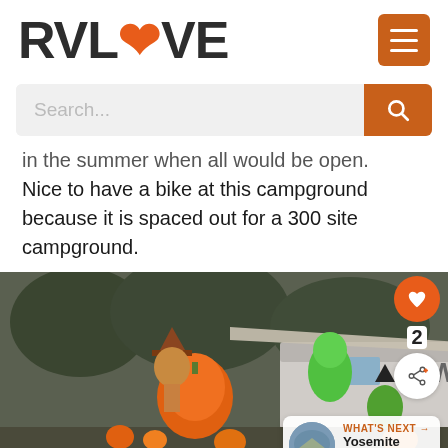[Figure (logo): RVLove logo with orange heart in the O, and orange hamburger menu icon]
[Figure (screenshot): Search bar with placeholder text 'Search...' and orange search button]
in the summer when all would be open. Nice to have a bike at this campground because it is spaced out for a 300 site campground.
[Figure (photo): Halloween inflatable decorations including pumpkin, witch, alien/green character near an RV with awning extended, trees in background. Side buttons show heart icon with count 2 and share icon. What's Next panel shows Yosemite Lakes RV...]